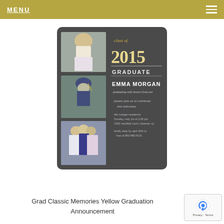MENU
[Figure (illustration): A graduation announcement card with dark chalkboard background. Left side has three portrait photos stacked vertically. Right side shows 'Class of 2015 GRADUATE EMMA MORGAN' with event details including graduating with honors, please join us to celebrate this milestone, the Morgan residence Sunday May 1st at 2:00 pm, 1326 Mayfield Court, Cleanse, NY, kindly reply by April 25th.]
Grad Classic Memories Yellow Graduation Announcement